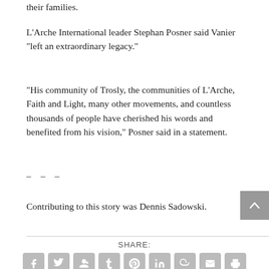their families.
L'Arche International leader Stephan Posner said Vanier “left an extraordinary legacy.”
“His community of Trosly, the communities of L’Arche, Faith and Light, many other movements, and countless thousands of people have cherished his words and benefited from his vision,” Posner said in a statement.
– – –
Contributing to this story was Dennis Sadowski.
SHARE:
[Figure (infographic): Social share buttons: Facebook, Twitter, Google+, Tumblr, Pinterest, LinkedIn, StumbleUpon, Email, Print]